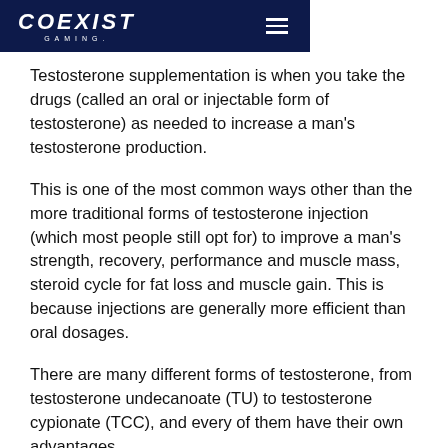COEXIST GAMING
Testosterone supplementation is when you take the drugs (called an oral or injectable form of testosterone) as needed to increase a man's testosterone production.
This is one of the most common ways other than the more traditional forms of testosterone injection (which most people still opt for) to improve a man's strength, recovery, performance and muscle mass, steroid cycle for fat loss and muscle gain. This is because injections are generally more efficient than oral dosages.
There are many different forms of testosterone, from testosterone undecanoate (TU) to testosterone cypionate (TCC), and every of them have their own advantages